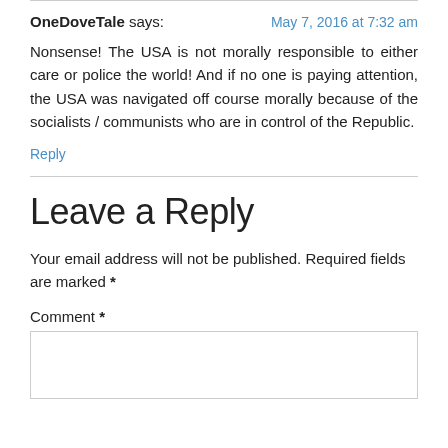OneDoveTale says: — May 7, 2016 at 7:32 am
Nonsense! The USA is not morally responsible to either care or police the world! And if no one is paying attention, the USA was navigated off course morally because of the socialists / communists who are in control of the Republic.
Reply
Leave a Reply
Your email address will not be published. Required fields are marked *
Comment *